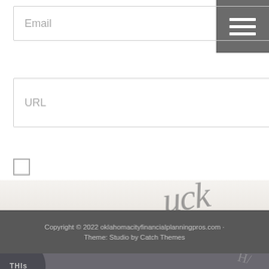[Figure (screenshot): Email input text field with placeholder text 'Email' and a hamburger menu button (three horizontal lines) in the top right corner on a dark gray background]
[Figure (screenshot): URL input text field with placeholder text 'URL']
[Figure (screenshot): Empty checkbox element]
[Figure (screenshot): Green 'POST COMMENT' button]
[Figure (photo): Partial background photo showing handwritten text 'uck' in dark ink, part of a larger word]
Copyright © 2022 oklahomacityfinancialplanningpros.com · Theme: Studio by Catch Themes
[Figure (photo): Dark gray background with a circular element at bottom left showing 'THIS' text, and a hand/pen element at right]